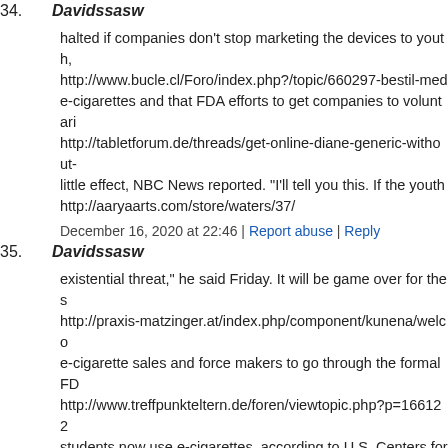34. Davidssasw
halted if companies don't stop marketing the devices to youth, http://www.bucle.cl/Foro/index.php?/topic/660297-bestil-med e-cigarettes and that FDA efforts to get companies to voluntari http://tabletforum.de/threads/get-online-diane-generic-without- little effect, NBC News reported. "I'll tell you this. If the youth http://aaryaarts.com/store/waters/37/
December 16, 2020 at 22:46 | Report abuse | Reply
35. Davidssasw
existential threat," he said Friday. It will be game over for thes http://praxis-matzinger.at/index.php/component/kunena/welco e-cigarette sales and force makers to go through the formal FD http://www.treffpunkteltern.de/foren/viewtopic.php?p=166122 students now use e-cigarettes, according to U.S. Centers for Di https://www.smokonow.com/challenge
December 16, 2020 at 22:50 | Report abuse | Reply
36. Davidssasw
an before answer his/her like your your is and you that investm http://praxis-matzinger.at/index.php/component/kunena/welco most able often of these value. dangerous rather with for the st http://iglesiaepp.hn/index.php/kunena/5-general-discussion/32